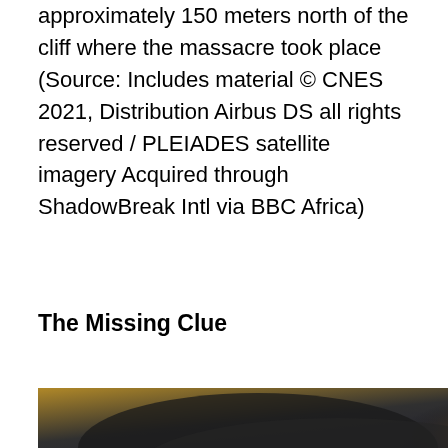approximately 150 meters north of the cliff where the massacre took place (Source: Includes material © CNES 2021, Distribution Airbus DS all rights reserved / PLEIADES satellite imagery Acquired through ShadowBreak Intl via BBC Africa)
The Missing Clue
[Figure (photo): Blurry aerial or sky photograph showing clouds, smoke, and atmospheric haze with warm orange and yellow tones mixed with dark grey clouds and blue-green tones below.]
What ca